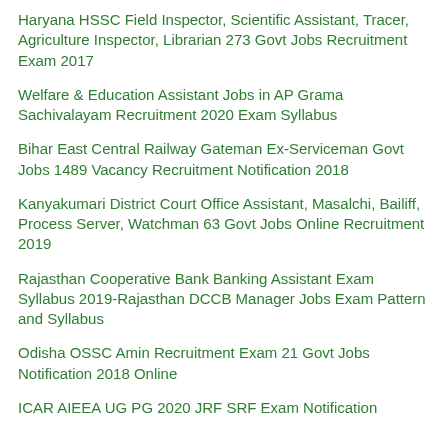Haryana HSSC Field Inspector, Scientific Assistant, Tracer, Agriculture Inspector, Librarian 273 Govt Jobs Recruitment Exam 2017
Welfare & Education Assistant Jobs in AP Grama Sachivalayam Recruitment 2020 Exam Syllabus
Bihar East Central Railway Gateman Ex-Serviceman Govt Jobs 1489 Vacancy Recruitment Notification 2018
Kanyakumari District Court Office Assistant, Masalchi, Bailiff, Process Server, Watchman 63 Govt Jobs Online Recruitment 2019
Rajasthan Cooperative Bank Banking Assistant Exam Syllabus 2019-Rajasthan DCCB Manager Jobs Exam Pattern and Syllabus
Odisha OSSC Amin Recruitment Exam 21 Govt Jobs Notification 2018 Online
ICAR AIEEA UG PG 2020 JRF SRF Exam Notification